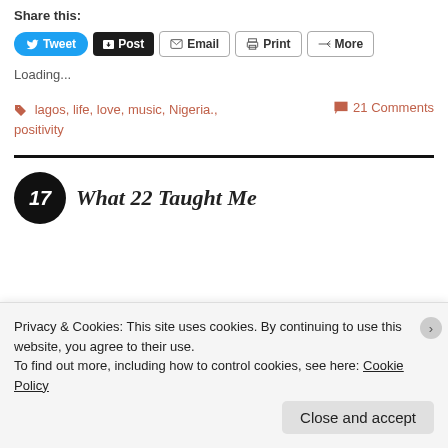Share this:
Tweet | Post | Email | Print | More
Loading...
lagos, life, love, music, Nigeria., positivity
21 Comments
What 22 Taught Me
Privacy & Cookies: This site uses cookies. By continuing to use this website, you agree to their use.
To find out more, including how to control cookies, see here: Cookie Policy
Close and accept